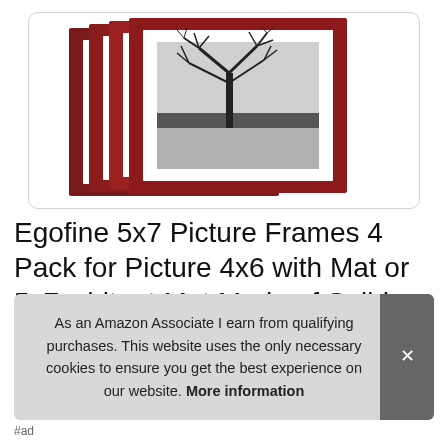[Figure (photo): Product photo showing stacked red/burgundy picture frames (4 pack) with a black and white tree photograph displayed in the front frame, shown against white background inside a rounded rectangle card]
Egofine 5x7 Picture Frames 4 Pack for Picture 4x6 with Mat or 5x7 whitout Mat Made of Solid Wood for Table Top Di... Fra...
As an Amazon Associate I earn from qualifying purchases. This website uses the only necessary cookies to ensure you get the best experience on our website. More information
#ad